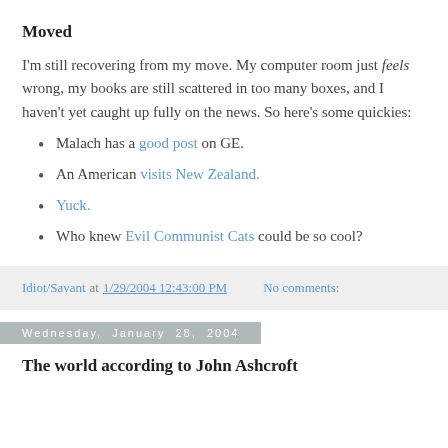Moved
I'm still recovering from my move. My computer room just feels wrong, my books are still scattered in too many boxes, and I haven't yet caught up fully on the news. So here's some quickies:
Malach has a good post on GE.
An American visits New Zealand.
Yuck.
Who knew Evil Communist Cats could be so cool?
Idiot/Savant at 1/29/2004 12:43:00 PM   No comments:
Wednesday, January 28, 2004
The world according to John Ashcroft